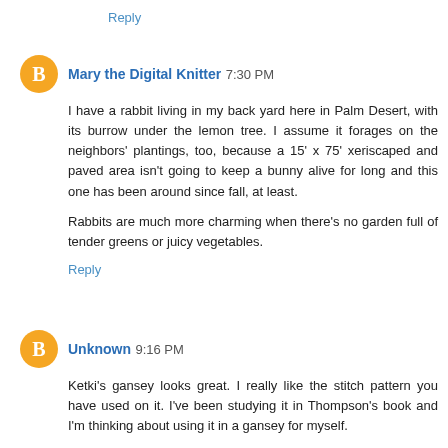Reply
Mary the Digital Knitter  7:30 PM
I have a rabbit living in my back yard here in Palm Desert, with its burrow under the lemon tree. I assume it forages on the neighbors' plantings, too, because a 15' x 75' xeriscaped and paved area isn't going to keep a bunny alive for long and this one has been around since fall, at least.

Rabbits are much more charming when there's no garden full of tender greens or juicy vegetables.
Reply
Unknown  9:16 PM
Ketki's gansey looks great. I really like the stitch pattern you have used on it. I've been studying it in Thompson's book and I'm thinking about using it in a gansey for myself.